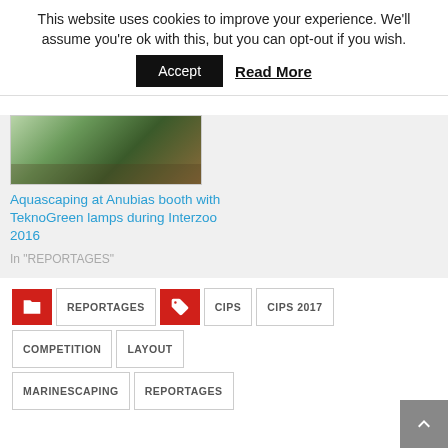This website uses cookies to improve your experience. We'll assume you're ok with this, but you can opt-out if you wish.
Accept  Read More
[Figure (photo): Aquascaping display with green plants and driftwood at Anubias booth]
Aquascaping at Anubias booth with TeknoGreen lamps during Interzoo 2016
In "REPORTAGES"
REPORTAGES  CIPS  CIPS 2017  COMPETITION  LAYOUT  MARINESCAPING  REPORTAGES